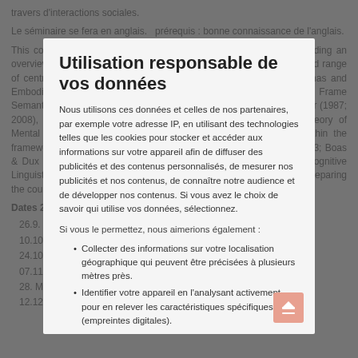travers d'interactions sociales.
Le séminaire se fera en anglais. prérequis : bonne connaissance de l'anglais.
Utilisation responsable de vos données
This course provides an introduction in Cognitive Linguistics by affording an overview on theories and applications within the field. It covers a broad range of central topics in Cognitive Linguistics (1982, 1987), Image Schemas and Embodiment (Johnson 1987; Clausner & Croft 1999; Oakley 2010), Frame Semantics (Fillmore 1982; Ziem 2014), Langacker's Cognitive Grammar (1987; 2008), Talmy's Cognitive Semantics (1983; 2000), Fauconnier's theory of Mental Spaces (1985) as well as related works, and research within the framework of Construction Grammar (Goldberg 2003; 2006; Boas 2013; Boas & Dux & Ziem 2016). In the Moodle course you'll find the group „Cognitive Linguistics" you'll find a broad bunch of literature that is relevant for preparing the course but also goes beyond it.
Nous utilisons ces données et celles de nos partenaires, par exemple votre adresse IP, en utilisant des technologies telles que les cookies pour stocker et accéder aux informations sur votre appareil afin de diffuser des publicités et des contenus personnalisés, de mesurer nos publicités et nos contenus, de connaître notre audience et de développer nos contenus. Si vous avez le choix de savoir qui utilise vos données, sélectionnez.
Si vous le permettez, nous aimerions également :
Dates 2017 Main topic
Collecter des informations sur votre localisation géographique qui peuvent être précisées à plusieurs mètres près.
Identifier votre appareil en l'analysant activement pour en relever les caractéristiques spécifiques (empreintes digitales).
26.9. Idealized Cognitive Models, Image Schemas, and Embodiment
10.10. Frame Semantics
24.10. Cognitive Grammar I
07.11. Cognitive Grammar II; Cognitive Semantics
28. Mental Spaces Theory and Conceptual Blending
Pour en savoir plus sur l'utilisation de vos données personnelles et définir vos préférences, reportez-vous à la
12.12. Construction Grammar (CxG) and its applications